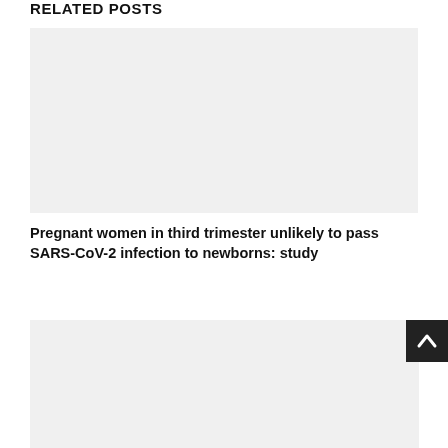RELATED POSTS
[Figure (photo): Placeholder image for related post thumbnail (light gray rectangle)]
Pregnant women in third trimester unlikely to pass SARS-CoV-2 infection to newborns: study
[Figure (photo): Placeholder image for second related post thumbnail (light gray rectangle)]